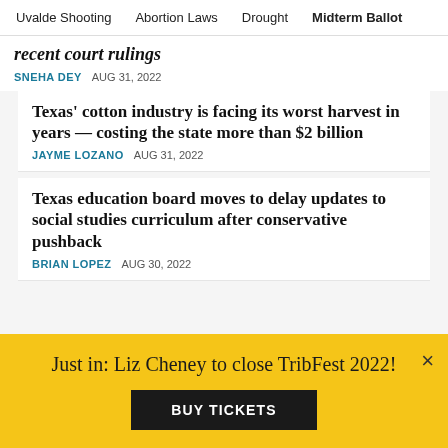Uvalde Shooting   Abortion Laws   Drought   Midterm Ballot
recent court rulings
SNEHA DEY   AUG 31, 2022
Texas' cotton industry is facing its worst harvest in years — costing the state more than $2 billion
JAYME LOZANO   AUG 31, 2022
Texas education board moves to delay updates to social studies curriculum after conservative pushback
BRIAN LOPEZ   AUG 30, 2022
Just in: Liz Cheney to close TribFest 2022!